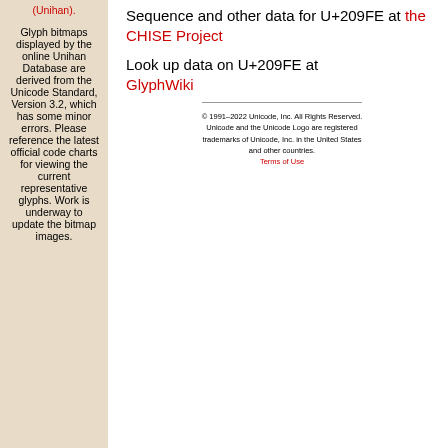(Unihan).
Glyph bitmaps displayed by the online Unihan Database are derived from the Unicode Standard, Version 3.2, which has some minor errors. Please reference the latest official code charts for viewing the current representative glyphs. Work is underway to update the bitmap images.
Sequence and other data for U+209FE at the CHISE Project
Look up data on U+209FE at GlyphWiki
© 1991-2022 Unicode, Inc. All Rights Reserved. Unicode and the Unicode Logo are registered trademarks of Unicode, Inc. in the United States and other countries. Terms of Use